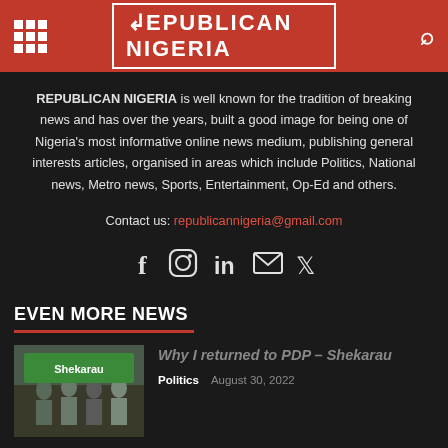REPUBLICAN NIGERIA
REPUBLICAN NIGERIA is well known for the tradition of breaking news and has over the years, built a good image for being one of Nigeria's most informative online news medium, publishing general interests articles, organised in areas which include Politics, National news, Metro news, Sports, Entertainment, Op-Ed and others.
Contact us: republicannigeria@gmail.com
[Figure (infographic): Social media icons row: Facebook, Instagram, LinkedIn, Email, Twitter]
EVEN MORE NEWS
Why I returned to PDP – Shekarau
Politics   August 30, 2022